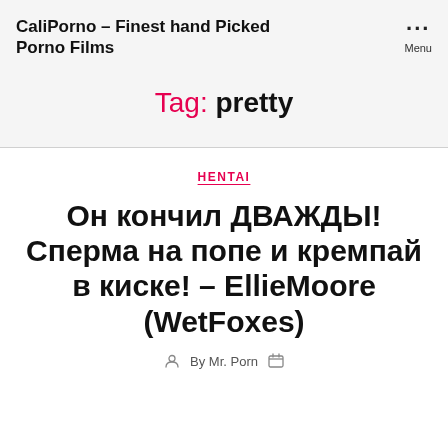CaliPorno – Finest hand Picked Porno Films
Tag: pretty
HENTAI
Он кончил ДВАЖДЫ! Сперма на попе и кремпай в киске! – EllieMoore (WetFoxes)
By Mr. Porn